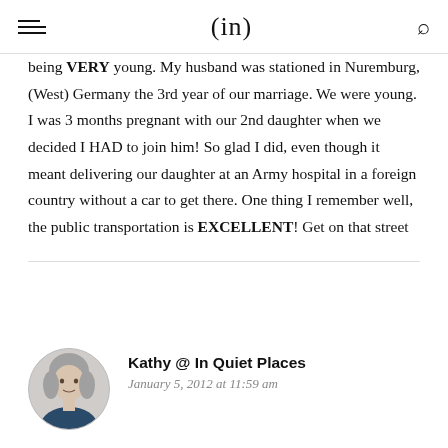(in)
being VERY young. My husband was stationed in Nuremburg, (West) Germany the 3rd year of our marriage. We were young. I was 3 months pregnant with our 2nd daughter when we decided I HAD to join him! So glad I did, even though it meant delivering our daughter at an Army hospital in a foreign country without a car to get there. One thing I remember well, the public transportation is EXCELLENT! Get on that street car and go see the city! It is such a beautiful place!! Lots of castles to explore.
Kathy @ In Quiet Places
January 5, 2012 at 11:59 am